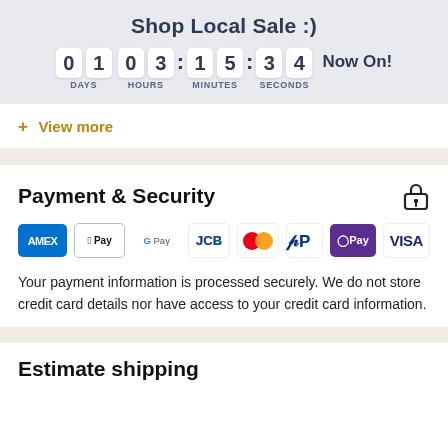Shop Local Sale :)
[Figure (other): Countdown timer showing 01 days, 03 hours, 15 minutes, 34 seconds with 'Now On!' text]
+ View more
Payment & Security
[Figure (other): Payment method icons: American Express, Apple Pay, Google Pay, JCB, Mastercard, PayPal, O Pay, Visa]
Your payment information is processed securely. We do not store credit card details nor have access to your credit card information.
Estimate shipping